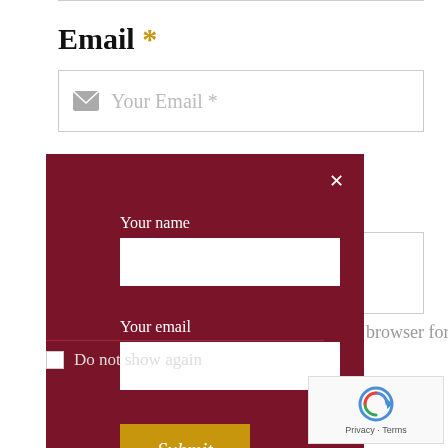Email *
[Figure (screenshot): Email input field with envelope icon and placeholder text 'Your Email *']
[Figure (screenshot): Dark red modal popup with 'Your name' and 'Your email' input fields, a gold Submit button, close X button, and 'Do not show again' checkbox]
n this browser for the
[Figure (screenshot): Google reCAPTCHA badge showing recaptcha icon with Privacy and Terms text]